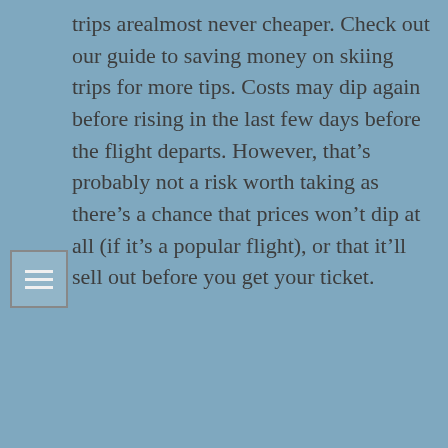trips arealmost never cheaper. Check out our guide to saving money on skiing trips for more tips. Costs may dip again before rising in the last few days before the flight departs. However, that's probably not a risk worth taking as there's a chance that prices won't dip at all (if it's a popular flight), or that it'll sell out before you get your ticket.
Some cheap student travel insurance should cover you in case something goes wrong. Another option is to search in an incognito browser . This way, your location and identity are concealed from airlines, so won't affect the prices displayed. So, you might find that when you've had your eye on a particular flight and have been checking back, the price increases.
Then, create a list of available flights by entering your points of departure and arrival, and your travel dates.